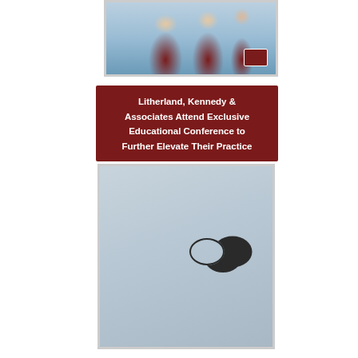[Figure (photo): Photo of Litherland Kennedy & Associates staff at a conference table, wearing burgundy polo shirts with company logo]
Litherland, Kennedy & Associates Attend Exclusive Educational Conference to Further Elevate Their Practice
[Figure (photo): Photo of an elderly man with white hair and glasses, cupping his hand to his ear as if having difficulty hearing]